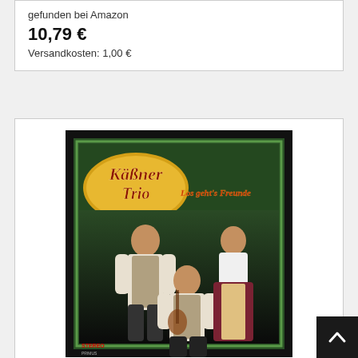gefunden bei Amazon
10,79 €
Versandkosten: 1,00 €
[Figure (photo): Album cover for 'Los Geht'S Freunde' by Käßner Trio. Shows three people in traditional Austrian/Bavarian clothing against a dark green background, with decorative logo text 'Käßner Trio' in a circular badge and subtitle 'Los geht's Freunde'.]
Los Geht'S Freunde
von KÄSSNER TRIO
gefunden bei Amazon
19,21 €